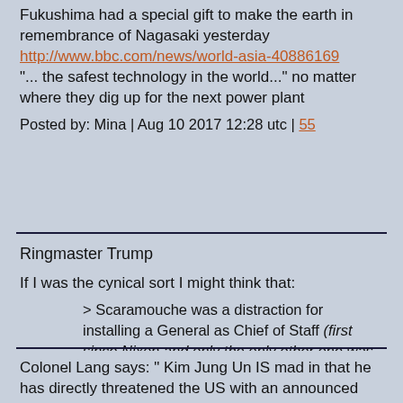Fukushima had a special gift to make the earth in remembrance of Nagasaki yesterday http://www.bbc.com/news/world-asia-40886169 "... the safest technology in the world..." no matter where they dig up for the next power plant
Posted by: Mina | Aug 10 2017 12:28 utc | 55
Ringmaster Trump
If I was the cynical sort I might think that:
> Scaramouche was a distraction for installing a General as Chief of Staff (first since Nixon and only the only other one was a person friend of Dwight Eisenhower);
> NK was a distraction for increasing troop levels in Afghanistan.
Posted by: Jackrabbit | Aug 10 2017 13:23 utc | 56
Colonel Lang says: " Kim Jung Un IS mad in that he has directly threatened the US with an announced attack to be made on the US sovereign territory of Guam. IMO that in itself justifies a US pre-emptive attack on NoKo. pl "